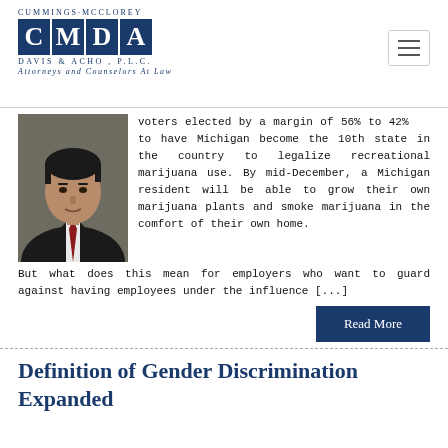Cummings McClorey Davis & Acho P.L.C. Attorneys and Counselors At Law
[Figure (photo): Headshot of a man in dark suit with red tie]
voters elected by a margin of 56% to 42% to have Michigan become the 10th state in the country to legalize recreational marijuana use. By mid-December, a Michigan resident will be able to grow their own marijuana plants and smoke marijuana in the comfort of their own home. But what does this mean for employers who want to guard against having employees under the influence [...]
Read More
Definition of Gender Discrimination Expanded